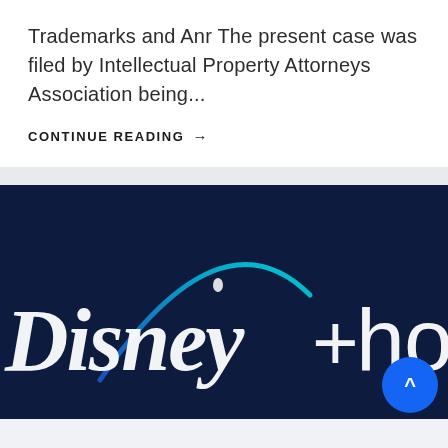Trademarks and Anr The present case was filed by Intellectual Property Attorneys Association being...
CONTINUE READING →
[Figure (photo): Disney+ Hotstar logo on dark navy background with teal arc graphic above the text]